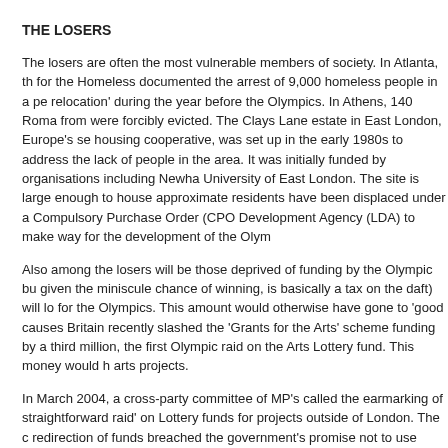THE LOSERS
The losers are often the most vulnerable members of society. In Atlanta, th for the Homeless documented the arrest of 9,000 homeless people in a pe relocation' during the year before the Olympics. In Athens, 140 Roma from were forcibly evicted. The Clays Lane estate in East London, Europe's se housing cooperative, was set up in the early 1980s to address the lack of people in the area. It was initially funded by organisations including Newha University of East London. The site is large enough to house approximate residents have been displaced under a Compulsory Purchase Order (CPO Development Agency (LDA) to make way for the development of the Olym
Also among the losers will be those deprived of funding by the Olympic bu given the miniscule chance of winning, is basically a tax on the daft) will lo for the Olympics. This amount would otherwise have gone to 'good causes Britain recently slashed the 'Grants for the Arts' scheme funding by a third million, the first Olympic raid on the Arts Lottery fund. This money would h arts projects.
In March 2004, a cross-party committee of MP's called the earmarking of straightforward raid' on Lottery funds for projects outside of London. The c redirection of funds breached the government's promise not to use Lottery that should be funded through general taxation. It will be communities in E deprived areas of the country who will suddenly find it harder to secure fu
NATIONAL MEGA PROJECTS